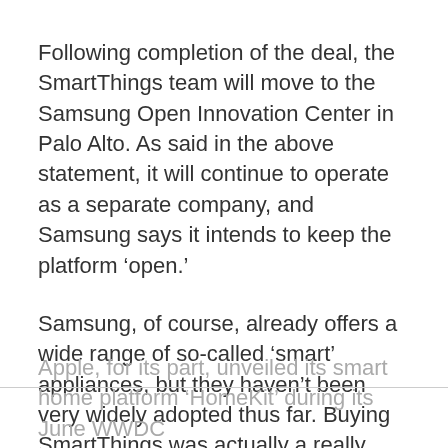Following completion of the deal, the SmartThings team will move to the Samsung Open Innovation Center in Palo Alto. As said in the above statement, it will continue to operate as a separate company, and Samsung says it intends to keep the platform ‘open.’
Samsung, of course, already offers a wide range of so-called ‘smart’ appliances, but they haven’t been very widely adopted thus far. Buying SmartThings was actually a really smart move for the firm, and it’ll be interesting to see what it does with the company’s tech.
Apple, for its part, unveiled its smart home platform ‘HomeKit’ during its June WWDC